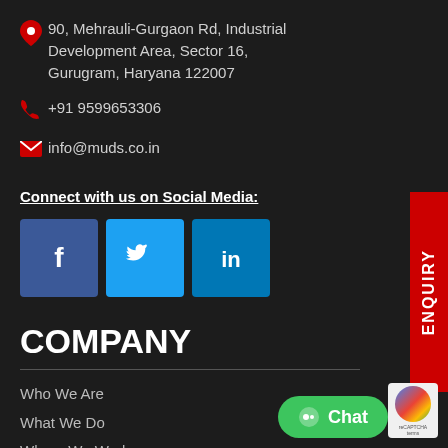90, Mehrauli-Gurgaon Rd, Industrial Development Area, Sector 16, Gurugram, Haryana 122007
+91 9599653306
info@muds.co.in
Connect with us on Social Media:
[Figure (illustration): Three social media icons: Facebook (dark blue), Twitter (light blue), LinkedIn (dark blue)]
COMPANY
Who We Are
What We Do
Where We Work
Careers